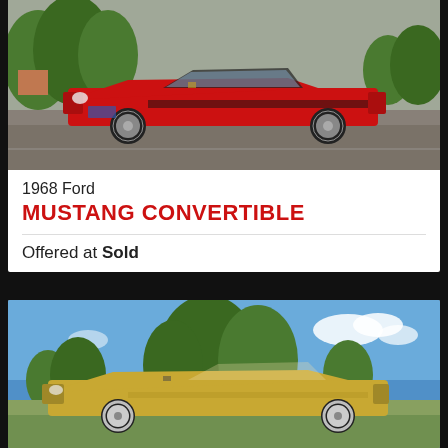[Figure (photo): 1968 Ford Mustang Convertible in red, parked on pavement with trees in background]
1968 Ford
MUSTANG CONVERTIBLE
Offered at Sold
[Figure (photo): 1968 Ford Mustang Convertible in gold/yellow, parked on grass with blue sky and trees in background]